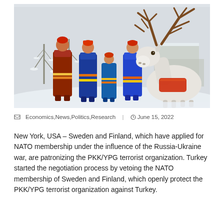[Figure (photo): People in traditional Sami colorful costumes (red, blue, orange) standing in a snowy outdoor setting, with a white reindeer in the foreground bearing large antlers and decorated with red harness. Snow-covered trees and a building in the background.]
Economics,News,Politics,Research  |  June 15, 2022
New York, USA – Sweden and Finland, which have applied for NATO membership under the influence of the Russia-Ukraine war, are patronizing the PKK/YPG terrorist organization. Turkey started the negotiation process by vetoing the NATO membership of Sweden and Finland, which openly protect the PKK/YPG terrorist organization against Turkey.